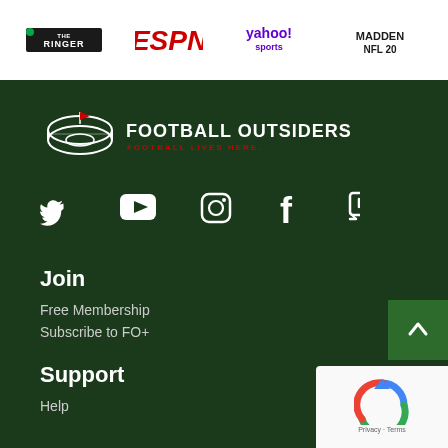[Figure (logo): Top bar with partner logos: The Ringer, ESPN, Yahoo Sports, Madden NFL 20]
[Figure (logo): Football Outsiders logo with stadium icon and tagline FOOTBALL LIVES HERE]
[Figure (infographic): Social media icons: Twitter, YouTube, Instagram, Facebook, Twitch]
Join
Free Membership
Subscribe to FO+
Support
Help